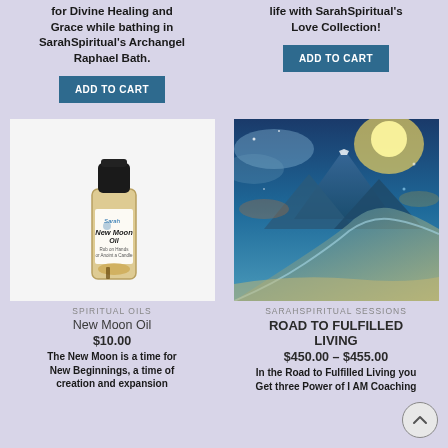for Divine Healing and Grace while bathing in SarahSpiritual's Archangel Raphael Bath.
life with SarahSpiritual's Love Collection!
ADD TO CART
ADD TO CART
[Figure (photo): A small bottle of Sarah New Moon Oil with gold label and decorative elements inside]
[Figure (photo): Fantasy landscape with glowing mountain, river, and starry cosmic sky with golden light]
SPIRITUAL OILS
SARAHSPIRITUAL SESSIONS
New Moon Oil
ROAD TO FULFILLED LIVING
$10.00
$450.00 – $455.00
The New Moon is a time for New Beginnings, a time of creation and expansion
In the Road to Fulfilled Living you Get three Power of I AM Coaching